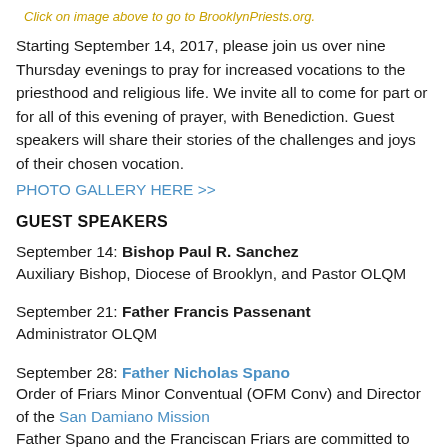Click on image above to go to BrooklynPriests.org.
Starting September 14, 2017, please join us over nine Thursday evenings to pray for increased vocations to the priesthood and religious life. We invite all to come for part or for all of this evening of prayer, with Benediction. Guest speakers will share their stories of the challenges and joys of their chosen vocation.
PHOTO GALLERY HERE >>
GUEST SPEAKERS
September 14: Bishop Paul R. Sanchez
Auxiliary Bishop, Diocese of Brooklyn, and Pastor OLQM
September 21: Father Francis Passenant
Administrator OLQM
September 28: Father Nicholas Spano
Order of Friars Minor Conventual (OFM Conv) and Director of the San Damiano Mission
Father Spano and the Franciscan Friars are committed to